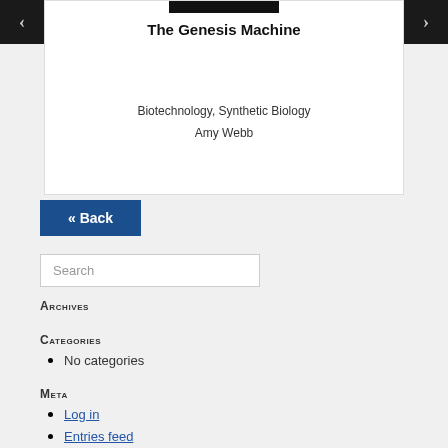The Genesis Machine
Biotechnology, Synthetic Biology
Amy Webb
« Back
Search
Archives
Categories
No categories
Meta
Log in
Entries feed
Comments feed